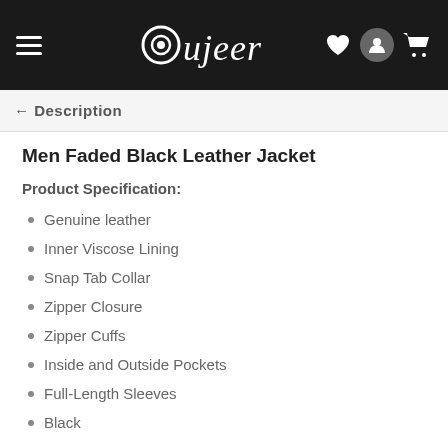Oujeer (navigation bar with hamburger menu, logo, heart, user, and cart icons)
Product Description
Men Faded Black Leather Jacket
Product Specification:
Genuine leather
Inner Viscose Lining
Snap Tab Collar
Zipper Closure
Zipper Cuffs
Inside and Outside Pockets
Full-Length Sleeves
Black